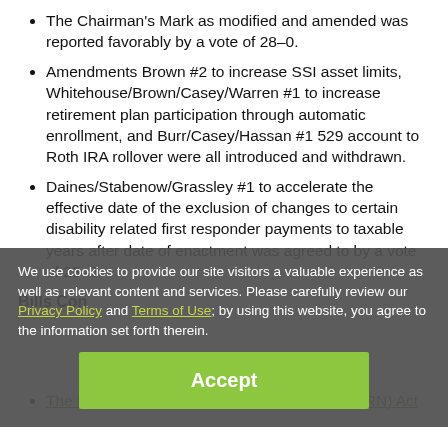The Chairman's Mark as modified and amended was reported favorably by a vote of 28–0.
Amendments Brown #2 to increase SSI asset limits, Whitehouse/Brown/Casey/Warren #1 to increase retirement plan participation through automatic enrollment, and Burr/Casey/Hassan #1 529 account to Roth IRA rollover were all introduced and withdrawn.
Daines/Stabenow/Grassley #1 to accelerate the effective date of the exclusion of changes to certain disability related first responder payments to taxable years after date of enactment was agreed to by a vote of 23–5.
Bills Con…
The Enhancing American Retirement Now (EARN) Act
We use cookies to provide our site visitors a valuable experience as well as relevant content and services. Please carefully review our Privacy Policy and Terms of Use; by using this website, you agree to the information set forth therein.